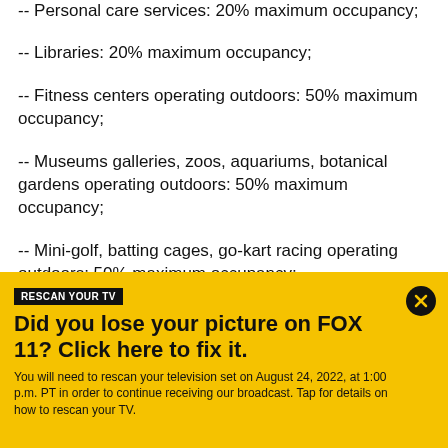-- Personal care services: 20% maximum occupancy;
-- Libraries: 20% maximum occupancy;
-- Fitness centers operating outdoors: 50% maximum occupancy;
-- Museums galleries, zoos, aquariums, botanical gardens operating outdoors: 50% maximum occupancy;
-- Mini-golf, batting cages, go-kart racing operating outdoors: 50% maximum occupancy;
[Figure (infographic): Yellow banner advertisement for FOX 11 TV rescan. Contains label 'RESCAN YOUR TV', headline 'Did you lose your picture on FOX 11? Click here to fix it.', and body text 'You will need to rescan your television set on August 24, 2022, at 1:00 p.m. PT in order to continue receiving our broadcast. Tap for details on how to rescan your TV.' with a black close button (X) in the top right corner.]